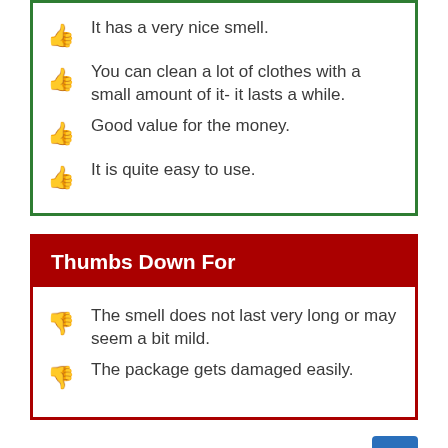It has a very nice smell.
You can clean a lot of clothes with a small amount of it- it lasts a while.
Good value for the money.
It is quite easy to use.
Thumbs Down For
The smell does not last very long or may seem a bit mild.
The package gets damaged easily.
Shop Related Products: